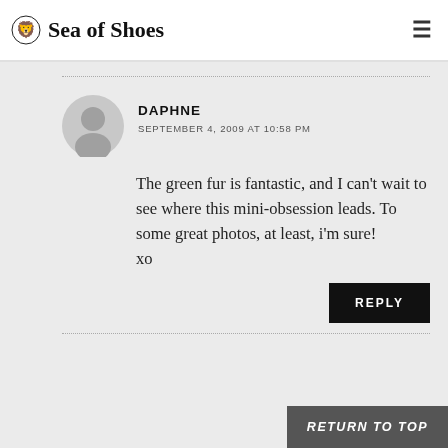Sea of Shoes
DAPHNE
SEPTEMBER 4, 2009 AT 10:58 PM

The green fur is fantastic, and I can't wait to see where this mini-obsession leads. To some great photos, at least, i'm sure!
xo
REPLY
RETURN TO TOP